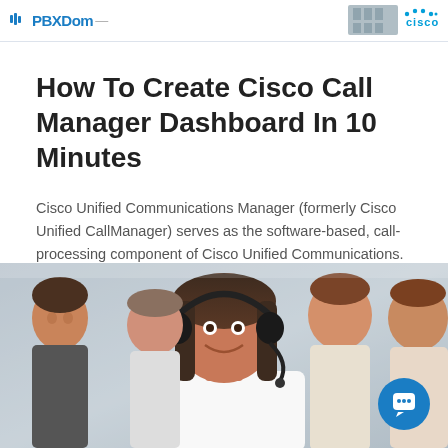PBXDom | Cisco logo
How To Create Cisco Call Manager Dashboard In 10 Minutes
Cisco Unified Communications Manager (formerly Cisco Unified CallManager) serves as the software-based, call-processing component of Cisco Unified Communications. (PBXDom is  Cisco Call Manager Dashboard 3rdparty)..
[Figure (photo): A woman wearing a headset smiling at the camera, with several other office workers smiling in the background. Customer service / call center setting.]